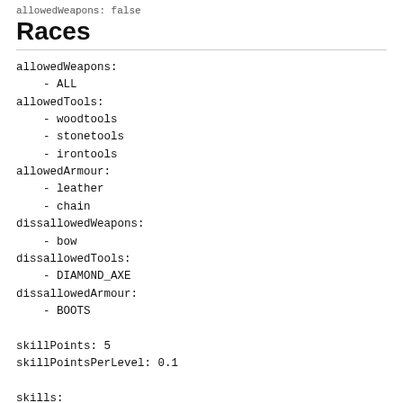allowedWeapons: false
Races
allowedWeapons:
    - ALL
allowedTools:
    - woodtools
    - stonetools
    - irontools
allowedArmour:
    - leather
    - chain
dissallowedWeapons:
    - bow
dissallowedTools:
    - DIAMOND_AXE
dissallowedArmour:
    - BOOTS

skillPoints: 5
skillPointsPerLevel: 0.1

skills:
    dodge: